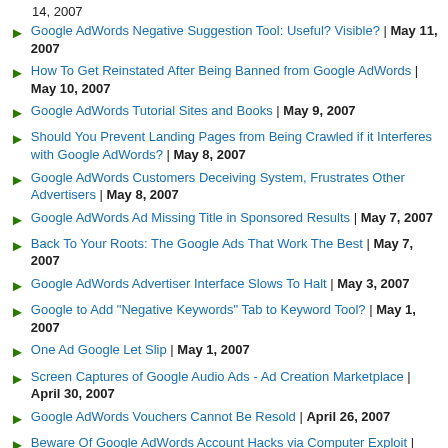14, 2007
Google AdWords Negative Suggestion Tool: Useful? Visible? | May 11, 2007
How To Get Reinstated After Being Banned from Google AdWords | May 10, 2007
Google AdWords Tutorial Sites and Books | May 9, 2007
Should You Prevent Landing Pages from Being Crawled if it Interferes with Google AdWords? | May 8, 2007
Google AdWords Customers Deceiving System, Frustrates Other Advertisers | May 8, 2007
Google AdWords Ad Missing Title in Sponsored Results | May 7, 2007
Back To Your Roots: The Google Ads That Work The Best | May 7, 2007
Google AdWords Advertiser Interface Slows To Halt | May 3, 2007
Google to Add "Negative Keywords" Tab to Keyword Tool? | May 1, 2007
One Ad Google Let Slip | May 1, 2007
Screen Captures of Google Audio Ads - Ad Creation Marketplace | April 30, 2007
Google AdWords Vouchers Cannot Be Resold | April 26, 2007
Beware Of Google AdWords Account Hacks via Computer Exploit | April 25, 2007
Google's AdWords Representative Calls Radio Ads Magical | April 25, 2007
Navigation: [1] Prev 35 36 37 38 39 40 41 42 43 44 45 Next [48]
THE PULSE OF THE SEARCH COMMUNITY